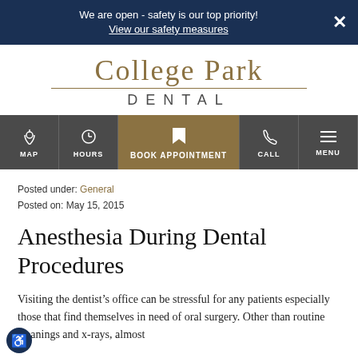We are open - safety is our top priority!
View our safety measures
COLLEGE PARK
DENTAL
[Figure (screenshot): Navigation bar with icons for MAP, HOURS, BOOK APPOINTMENT (gold background), CALL, MENU]
Posted under: General
Posted on: May 15, 2015
Anesthesia During Dental Procedures
Visiting the dentist’s office can be stressful for any patients especially those that find themselves in need of oral surgery. Other than routine cleanings and x-rays, almost